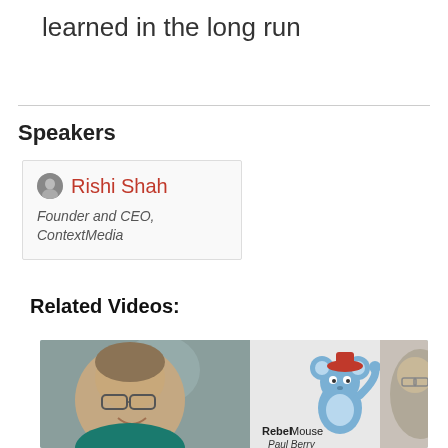learned in the long run
Speakers
Rishi Shah
Founder and CEO, ContextMedia
Related Videos:
[Figure (photo): Video thumbnail showing a man with glasses smiling, a blurred person in background, a RebelMouse cartoon mouse logo, and text 'RebelMouse Paul Berry'. Another thumbnail partially visible on right.]